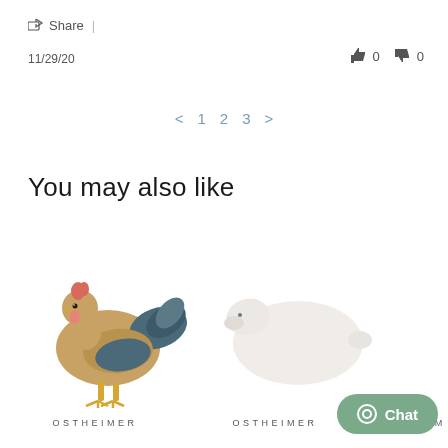Share |
11/29/20
0  0
< 1 2 3 >
You may also like
[Figure (photo): Wooden toy rooster figurine (Ostheimer brand) - painted in brown, gold and teal colors with a red comb]
[Figure (photo): Wooden toy white sheep/dove figurine (Ostheimer brand)]
OSTHEIMER
OSTHEIMER
OSTHEIM
Chat